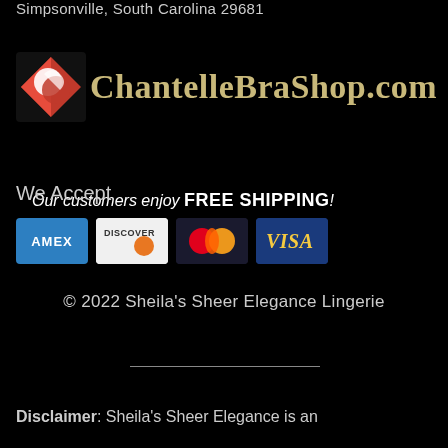Simpsonville, South Carolina 29681
[Figure (logo): ChantelleBraShop.com logo with red diamond icon and gold text, with tagline 'Our customers enjoy FREE SHIPPING!']
We Accept
[Figure (infographic): Payment method icons: American Express, Discover, Mastercard, Visa]
© 2022 Sheila's Sheer Elegance Lingerie
Disclaimer: Sheila's Sheer Elegance is an